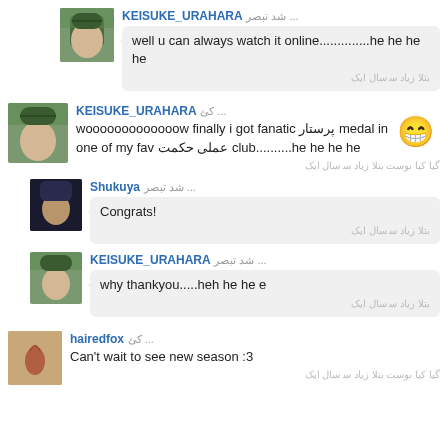KEISUKE_URAHARA شد‍ تبصر‍ ... well u can always watch it online..............he he he he بتلا زیاد‍ س‍ سال ایک
KEISUKE_URAHARA کئ ... wooooooooooooow finally i got fanatic پرستار medal in one of my fav عملی حکمت club..........he he he he گیا کیا بوست بتلا زیاد‍ س‍ سال ایک
Shukuya شد‍ تبصر‍ ... Congrats! بتلا زیاد‍ س‍ سال ایک
KEISUKE_URAHARA شد‍ تبصر‍ ... why thankyou.....heh he he e بتلا زیاد‍ س‍ سال ایک
hairedfox کئ ... Can't wait to see new season :3 گیا کیا بوست بتلا زیاد‍ س‍ سال ایک